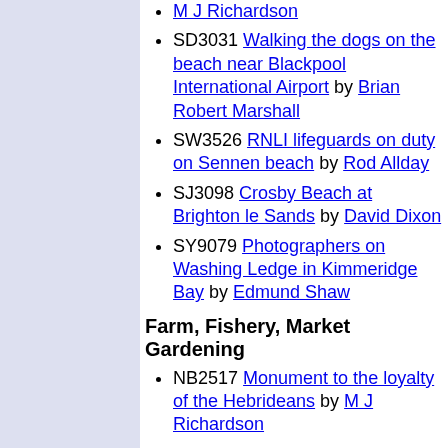M J Richardson
SD3031 Walking the dogs on the beach near Blackpool International Airport by Brian Robert Marshall
SW3526 RNLI lifeguards on duty on Sennen beach by Rod Allday
SJ3098 Crosby Beach at Brighton le Sands by David Dixon
SY9079 Photographers on Washing Ledge in Kimmeridge Bay by Edmund Shaw
Farm, Fishery, Market Gardening
NB2517 Monument to the loyalty of the Hebrideans by M J Richardson
Flat landscapes
SE6345 World Ploughing Championships by Michael Trolove
SK8971 Art on the trail by Steve Fareham
TR0917 Boat in front of Derek